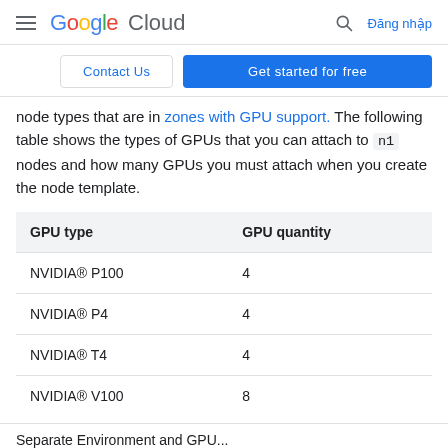Google Cloud — Đăng nhập
Contact Us  Get started for free
node types that are in zones with GPU support. The following table shows the types of GPUs that you can attach to n1 nodes and how many GPUs you must attach when you create the node template.
| GPU type | GPU quantity |
| --- | --- |
| NVIDIA® P100 | 4 |
| NVIDIA® P4 | 4 |
| NVIDIA® T4 | 4 |
| NVIDIA® V100 | 8 |
Separate Environment and GPU...